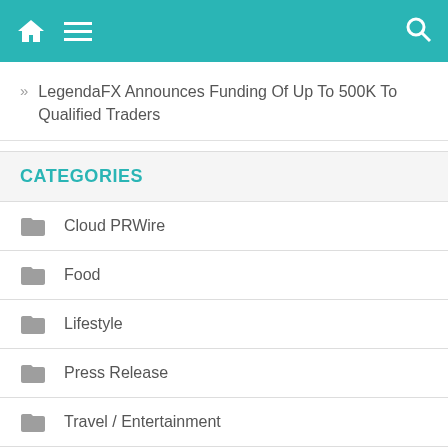Navigation bar with home, menu, and search icons
» LegendaFX Announces Funding Of Up To 500K To Qualified Traders
CATEGORIES
Cloud PRWire
Food
Lifestyle
Press Release
Travel / Entertainment
World
SocialPayMe Launches First NFT